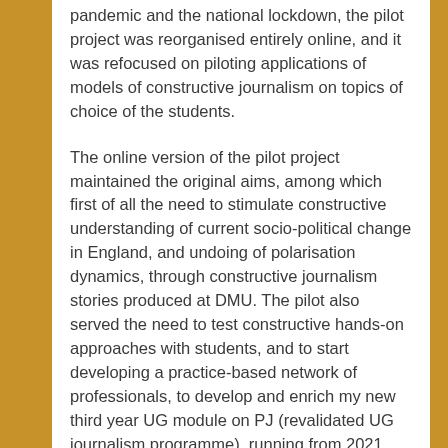pandemic and the national lockdown, the pilot project was reorganised entirely online, and it was refocused on piloting applications of models of constructive journalism on topics of choice of the students.
The online version of the pilot project maintained the original aims, among which first of all the need to stimulate constructive understanding of current socio-political change in England, and undoing of polarisation dynamics, through constructive journalism stories produced at DMU. The pilot also served the need to test constructive hands-on approaches with students, and to start developing a practice-based network of professionals, to develop and enrich my new third year UG module on PJ (revalidated UG journalism programme), running from 2021.